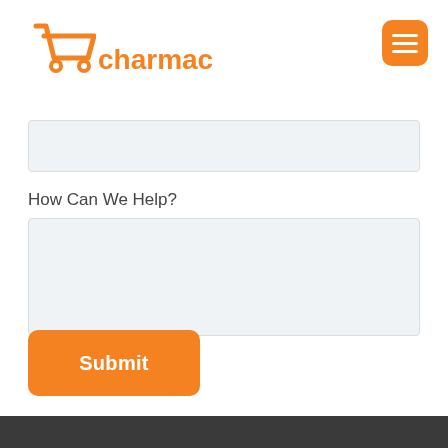[Figure (logo): Charmac shopping cart logo with orange cart icon and orange brand name 'charmac']
[Figure (other): Orange hamburger menu button (three horizontal lines) in top right corner]
How Can We Help?
[Figure (other): Submit button, orange rounded rectangle with white bold text 'Submit']